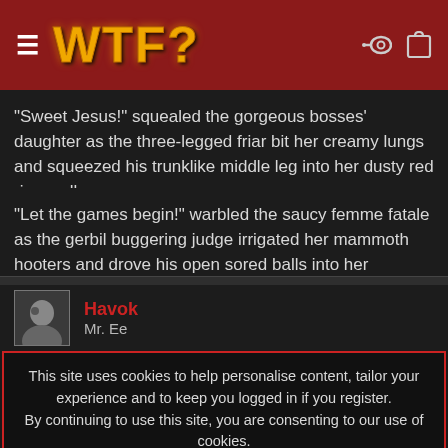WTF?
"Sweet Jesus!" squealed the gorgeous bosses' daughter as the three-legged friar bit her creamy lungs and squeezed his trunklike middle leg into her dusty red river valley.
"Let the games begin!" warbled the saucy femme fatale as the gerbil buggering judge irrigated her mammoth hooters and drove his open sored balls into her festering butterbox.
Havok
Mr. Ee
This site uses cookies to help personalise content, tailor your experience and to keep you logged in if you register.
By continuing to use this site, you are consenting to our use of cookies.
✔ ACCEPT   LEARN MORE...